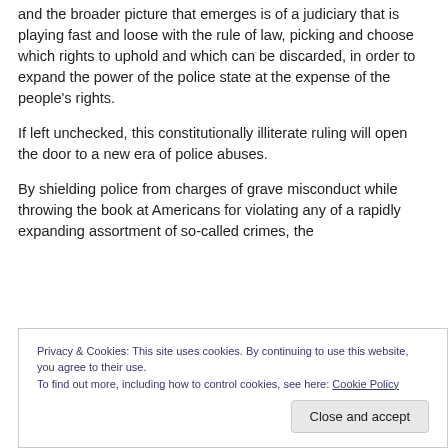and the broader picture that emerges is of a judiciary that is playing fast and loose with the rule of law, picking and choose which rights to uphold and which can be discarded, in order to expand the power of the police state at the expense of the people's rights.
If left unchecked, this constitutionally illiterate ruling will open the door to a new era of police abuses.
By shielding police from charges of grave misconduct while throwing the book at Americans for violating any of a rapidly expanding assortment of so-called crimes, the
Privacy & Cookies: This site uses cookies. By continuing to use this website, you agree to their use.
To find out more, including how to control cookies, see here: Cookie Policy